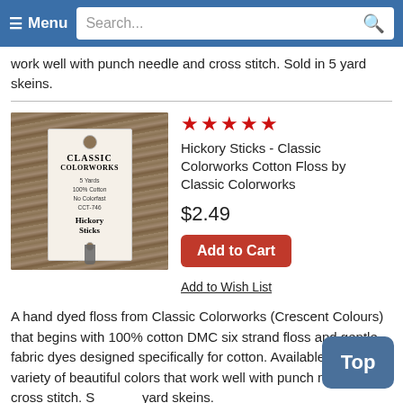≡ Menu   Search...
work well with punch needle and cross stitch. Sold in 5 yard skeins.
[Figure (photo): Product photo of Hickory Sticks Classic Colorworks Cotton Floss skein with label showing brand name, 5 yards, 100% Cotton, No Colorfast, CCT-746, Hickory Sticks]
Hickory Sticks - Classic Colorworks Cotton Floss by Classic Colorworks
$2.49
Add to Cart
Add to Wish List
A hand dyed floss from Classic Colorworks (Crescent Colours) that begins with 100% cotton DMC six strand floss and gentle fabric dyes designed specifically for cotton. Available in a variety of beautiful colors that work well with punch needle and cross stitch. Sold in 5 yard skeins.